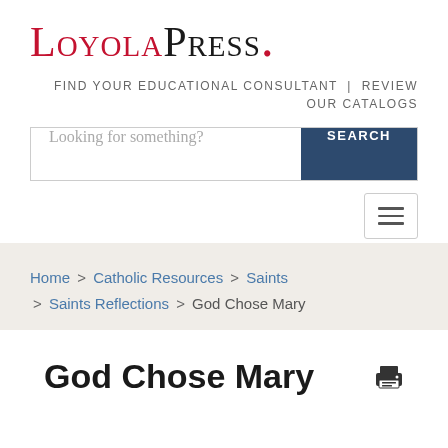[Figure (logo): Loyola Press logo with red 'Loyola' and black 'Press' in small-caps serif font, followed by a red period]
FIND YOUR EDUCATIONAL CONSULTANT  |  REVIEW OUR CATALOGS
[Figure (screenshot): Search bar with placeholder text 'Looking for something?' and a dark blue SEARCH button]
[Figure (other): Hamburger menu icon (three horizontal lines) in a bordered box]
Home > Catholic Resources > Saints > Saints Reflections > God Chose Mary
God Chose Mary